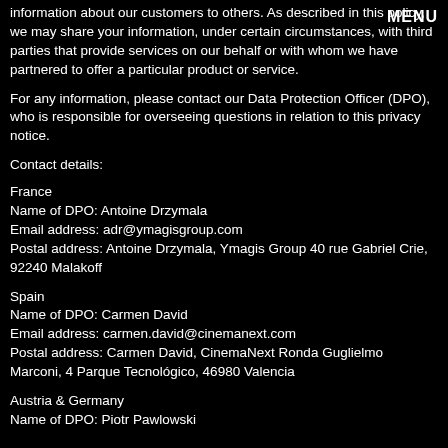information about our customers to others. As described in this policy, we may share your information, under certain circumstances, with third parties that provide services on our behalf or with whom we have partnered to offer a particular product or service.
MENU
For any information, please contact our Data Protection Officer (DPO), who is responsible for overseeing questions in relation to this privacy notice.
Contact details:
France
Name of DPO: Antoine Drzymala
Email address: adr@ymagisgroup.com
Postal address: Antoine Drzymala, Ymagis Group 40 rue Gabriel Crie, 92240 Malakoff
Spain
Name of DPO: Carmen David
Email address: carmen.david@cinemanext.com
Postal address: Carmen David, CinemaNext Ronda Guglielmo Marconi, 4 Parque Tecnológico, 46980 Valencia
Austria & Germany
Name of DPO: Piotr Pawlowski